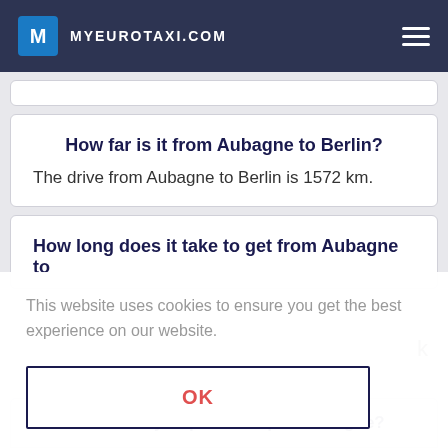MYEUROTAXI.COM
How far is it from Aubagne to Berlin?
The drive from Aubagne to Berlin is 1572 km.
How long does it take to get from Aubagne to
This website uses cookies to ensure you get the best experience on our website.
OK
Where can you pick me up in Aubagne?